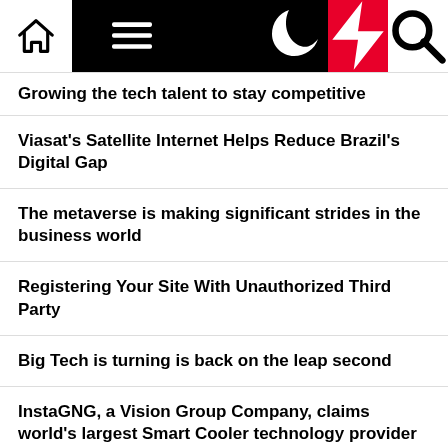Navigation bar with home, hamburger menu, moon, bolt, and search icons
Growing the tech talent to stay competitive
Viasat's Satellite Internet Helps Reduce Brazil's Digital Gap
The metaverse is making significant strides in the business world
Registering Your Site With Unauthorized Third Party
Big Tech is turning is back on the leap second
InstaGNG, a Vision Group Company, claims world's largest Smart Cooler technology provider with global rollout
The University of Technology Sydney to create a